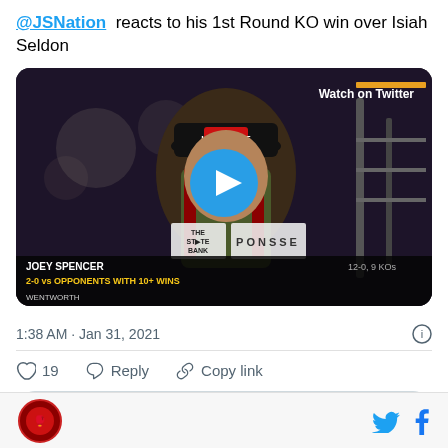@JSNation reacts to his 1st Round KO win over Isiah Seldon
[Figure (screenshot): Video thumbnail showing Joey Spencer after his 1st Round KO win. Text overlays: 'Watch on Twitter', 'JOEY SPENCER', '12-0, 9 KOs', '2-0 vs OPPONENTS WITH 10+ WINS'. Play button visible in center.]
1:38 AM · Jan 31, 2021
19  Reply  Copy link
Explore what's happening on Twitter